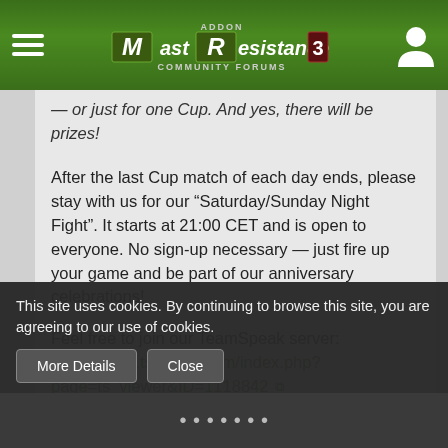MastResistance Addon 3 Community Forums
— or just for one Cup. And yes, there will be prizes!
After the last Cup match of each day ends, please stay with us for our “Saturday/Sunday Night Fight”. It starts at 21:00 CET and is open to everyone. No sign-up necessary — just fire up your game and be part of our anniversary celebrations!
Feel free to join our TeamSpeak server: https://www.tsviewer.com/index.php?page=ts_viewer&ID=1118842
Or keep yourself up-to-date by joining our Discord channel: https://discord.gg/xAZkye9
Best regards,
your LRv3 Team!
This site uses cookies. By continuing to browse this site, you are agreeing to our use of cookies.